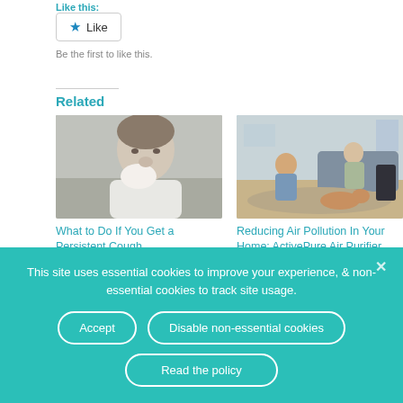Like this:
Like
Be the first to like this.
Related
[Figure (photo): Man blowing his nose into a tissue]
What to Do If You Get a Persistent Cough
[Figure (photo): Family sitting in a living room with a dog, with an air purifier nearby]
Reducing Air Pollution In Your Home: ActivePure Air Purifier
This site uses essential cookies to improve your experience, & non-essential cookies to track site usage.
Accept
Disable non-essential cookies
Read the policy